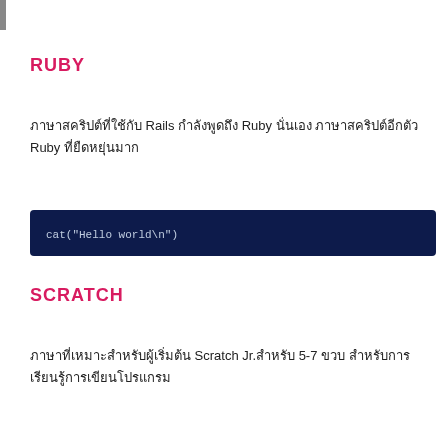RUBY
ภาษาสคริปต์ที่ใช้กับ Rails กำลังพูดถึง Ruby นั่นเอง ภาษาสคริปต์อีกตัว Ruby ที่ยืดหยุ่นมาก
[Figure (screenshot): Code block with dark navy background showing: cat("Hello world\n")]
SCRATCH
ภาษาที่เหมาะสำหรับผู้เริ่มต้น Scratch Jr.สำหรับ 5-7 ขวบ สำหรับการเรียนรู้การเขียนโปรแกรม